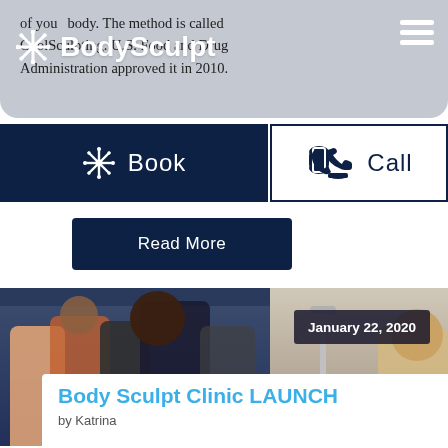of your body. The method is called CoolSculpting. U.S. Food and Drug Administration approved it in 2010.
[Figure (logo): BodySculpt logo with snowflake icon in white on grey background]
[Figure (other): Hamburger menu icon (three white horizontal lines)]
[Figure (other): Book button - dark navy background with white snowflake icon and text 'Book']
[Figure (other): Call button - white background with dark telephone icon and text 'Call']
[Figure (other): Read More button - dark navy rectangle]
[Figure (photo): Photo collage showing people at a clinic event, split image with people on left and clinic equipment on right]
January 22, 2020
Body Sculpt Clinic LAUNCH
by Katrina